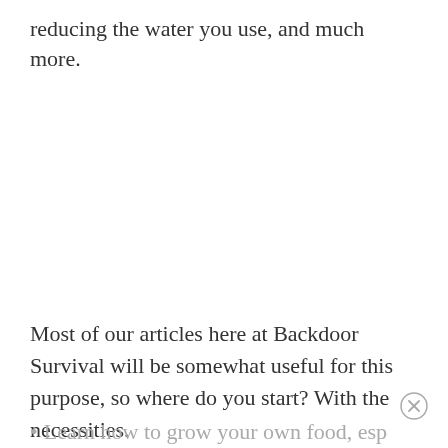reducing the water you use, and much more.
Most of our articles here at Backdoor Survival will be somewhat useful for this purpose, so where do you start? With the necessities.
Learn how to grow your own food, especially b…